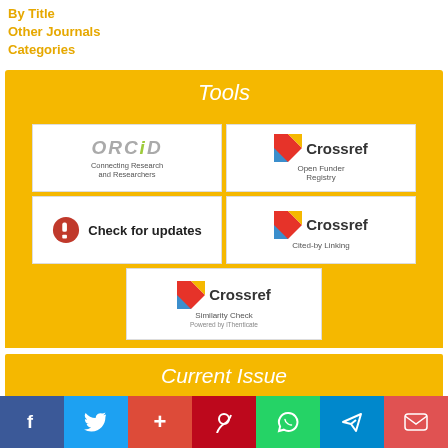By Title
Other Journals
Categories
Tools
[Figure (logo): ORCID - Connecting Research and Researchers logo]
[Figure (logo): Crossref Open Funder Registry logo]
[Figure (logo): Check for updates badge]
[Figure (logo): Crossref Cited-by Linking logo]
[Figure (logo): Crossref Similarity Check Powered by iThenticate logo]
Current Issue
[Figure (other): ATOM 1.0 feed badge]
[Figure (other): RSS 2.0 feed badge]
[Figure (other): RSS 1.0 feed badge]
[Figure (infographic): Social sharing bar: Facebook, Twitter, Google+, Pinterest, WhatsApp, Telegram, Gmail]